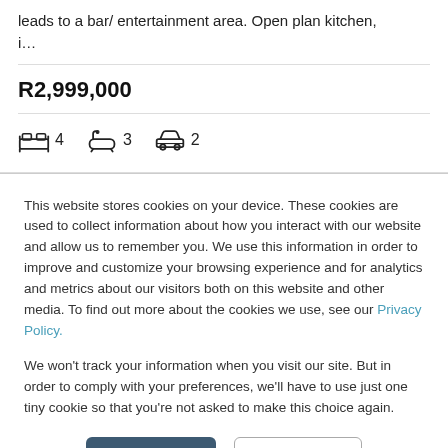leads to a bar/ entertainment area. Open plan kitchen, i…
R2,999,000
4 bedrooms, 3 bathrooms, 2 garages
This website stores cookies on your device. These cookies are used to collect information about how you interact with our website and allow us to remember you. We use this information in order to improve and customize your browsing experience and for analytics and metrics about our visitors both on this website and other media. To find out more about the cookies we use, see our Privacy Policy.
We won't track your information when you visit our site. But in order to comply with your preferences, we'll have to use just one tiny cookie so that you're not asked to make this choice again.
Accept
Decline